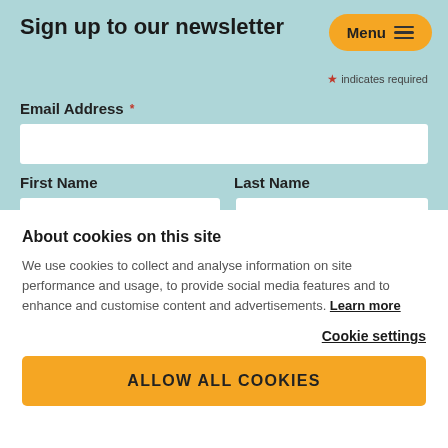Sign up to our newsletter
Menu ≡
★ indicates required
Email Address *
First Name
Last Name
About cookies on this site
We use cookies to collect and analyse information on site performance and usage, to provide social media features and to enhance and customise content and advertisements. Learn more
Cookie settings
ALLOW ALL COOKIES